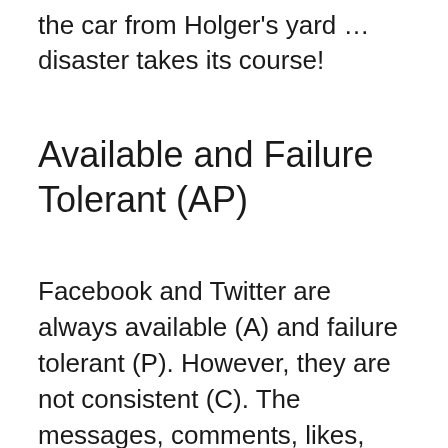the car from Holger's yard … disaster takes its course!
Available and Failure Tolerant (AP)
Facebook and Twitter are always available (A) and failure tolerant (P). However, they are not consistent (C). The messages, comments, likes, and whatnot don't reach all participants immediately, but are distributed throughout the system as they